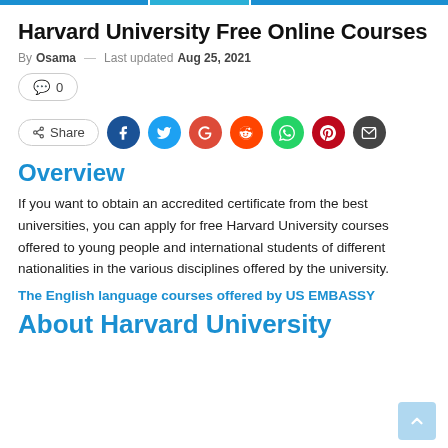Harvard University Free Online Courses
By Osama — Last updated Aug 25, 2021
[Figure (infographic): Comment count button showing 0 comments and social share buttons for Facebook, Twitter, Google, Reddit, WhatsApp, Pinterest, and Email]
Overview
If you want to obtain an accredited certificate from the best universities, you can apply for free Harvard University courses offered to young people and international students of different nationalities in the various disciplines offered by the university.
The English language courses offered by US EMBASSY
About Harvard University